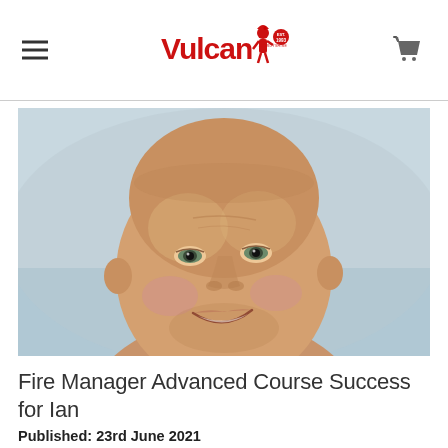Vulcan (logo) — Established 1993
[Figure (photo): Close-up portrait photo of a bald middle-aged man smiling, outdoors near water]
Fire Manager Advanced Course Success for Ian
Published: 23rd June 2021